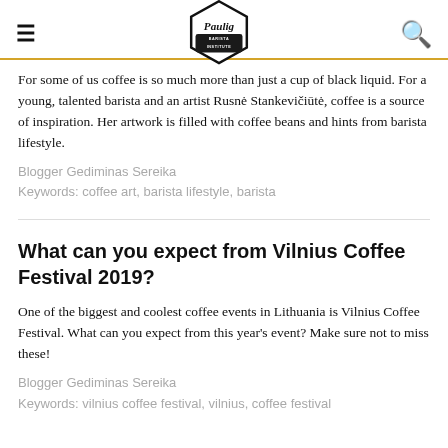Paulig Barista Institute
For some of us coffee is so much more than just a cup of black liquid. For a young, talented barista and an artist Rusnė Stankevičiūtė, coffee is a source of inspiration. Her artwork is filled with coffee beans and hints from barista lifestyle.
Blogger Gediminas Sereika
Keywords: coffee art, barista lifestyle, barista
What can you expect from Vilnius Coffee Festival 2019?
One of the biggest and coolest coffee events in Lithuania is Vilnius Coffee Festival. What can you expect from this year's event? Make sure not to miss these!
Blogger Gediminas Sereika
Keywords: vilnius coffee festival, vilnius, coffee festival